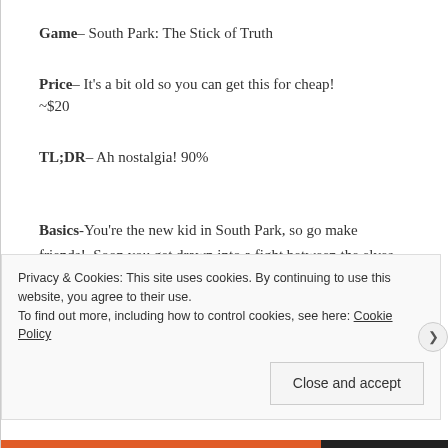Game– South Park: The Stick of Truth
Price– It's a bit old so you can get this for cheap! ~$20
TL;DR– Ah nostalgia! 90%
Basics-You're the new kid in South Park, so go make friends!  Soon you get drawn into a fight between the elves and the humans over the
Privacy & Cookies: This site uses cookies. By continuing to use this website, you agree to their use.
To find out more, including how to control cookies, see here: Cookie Policy
Close and accept